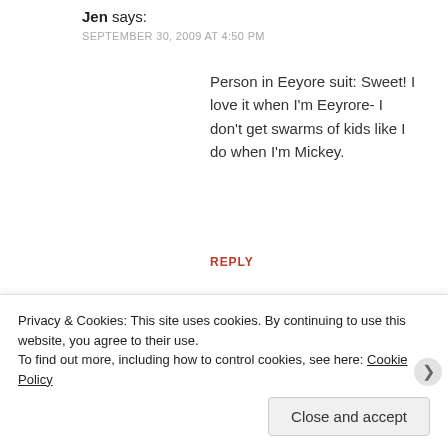Jen says:
SEPTEMBER 30, 2009 AT 4:50 PM
Person in Eeyore suit: Sweet! I love it when I'm Eeyrore- I don't get swarms of kids like I do when I'm Mickey.
REPLY
[Figure (other): P2 advertisement banner: Getting your team on the same page is easy. And free.]
REPORT THIS AD
Micah says:
Privacy & Cookies: This site uses cookies. By continuing to use this website, you agree to their use.
To find out more, including how to control cookies, see here: Cookie Policy
Close and accept